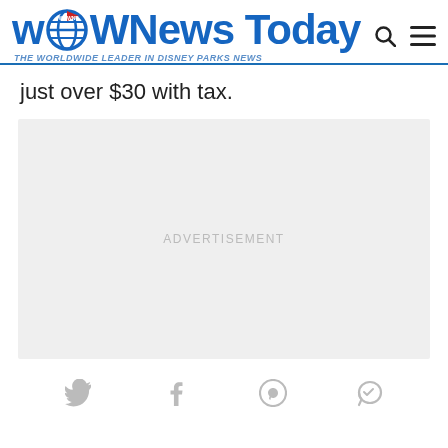WDW News Today — THE WORLDWIDE LEADER IN DISNEY PARKS NEWS
just over $30 with tax.
[Figure (other): Advertisement placeholder box with light gray background and centered 'ADVERTISEMENT' label]
[Figure (other): Social sharing icons row: Twitter, Facebook, Pinterest, Messenger]